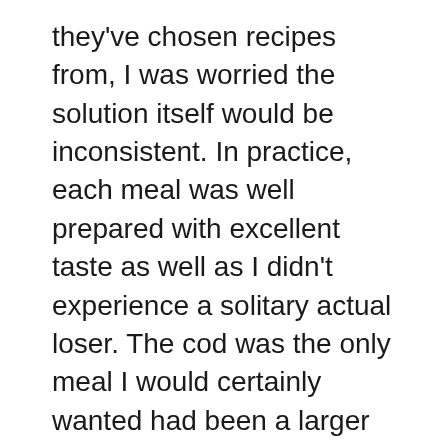they've chosen recipes from, I was worried the solution itself would be inconsistent. In practice, each meal was well prepared with excellent taste as well as I didn't experience a solitary actual loser. The cod was the only meal I would certainly wanted had been a larger part yet total each lunch or dinner was satisfying.
The most exciting thing about CookUnity is the large quantity of meal alternatives you can pick from, all originating from cooks of different histories, cooking styles and degrees of popularity. As an authentic restaurant junkie, I would consider CookUnity not just as a delicious means to maintain myself fed without having to cook, but additionally as an enjoyable method to learn